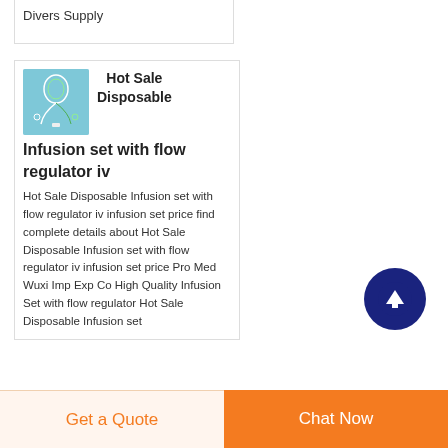Divers Supply
Hot Sale Disposable Infusion set with flow regulator iv
[Figure (photo): Product image of disposable infusion set with flow regulator iv on blue-green background]
Hot Sale Disposable Infusion set with flow regulator iv infusion set price find complete details about Hot Sale Disposable Infusion set with flow regulator iv infusion set price Pro Med Wuxi Imp Exp Co High Quality Infusion Set with flow regulator Hot Sale Disposable Infusion set
Get a Quote
Chat Now